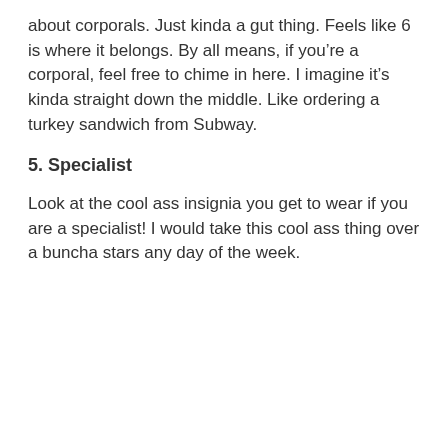about corporals. Just kinda a gut thing. Feels like 6 is where it belongs. By all means, if you're a corporal, feel free to chime in here. I imagine it's kinda straight down the middle. Like ordering a turkey sandwich from Subway.
5. Specialist
Look at the cool ass insignia you get to wear if you are a specialist! I would take this cool ass thing over a buncha stars any day of the week.